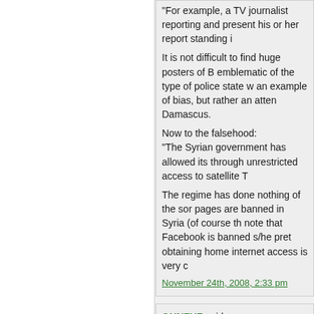"For example, a TV journalist reporting and present his or her report standing i

It is not difficult to find huge posters of B emblematic of the type of police state w an example of bias, but rather an atten Damascus.

Now to the falsehood:
"The Syrian government has allowed its through unrestricted access to satellite T

The regime has done nothing of the sor pages are banned in Syria (of course th note that Facebook is banned s/he pret obtaining home internet access is very c
November 24th, 2008, 2:33 pm
QUNFUZ said:

I do actually worry about the Arabs' ima

November 24th, 2008, 2:33 pm
QUNFUZ said:

ya'ani, don't asume that all human being (I'm sure even you could be humanised

November 24th, 2008, 2:47 pm